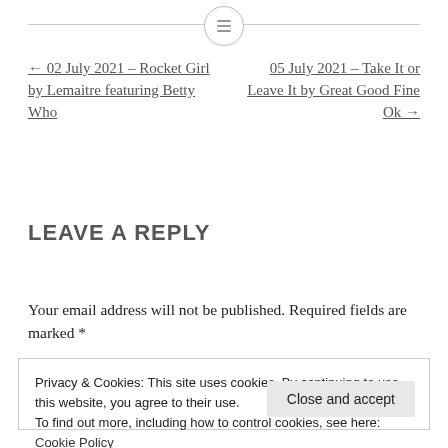[Figure (other): Horizontal divider line with a circular menu icon in the center]
← 02 July 2021 – Rocket Girl by Lemaitre featuring Betty Who
05 July 2021 – Take It or Leave It by Great Good Fine Ok →
LEAVE A REPLY
Your email address will not be published. Required fields are marked *
Privacy & Cookies: This site uses cookies. By continuing to use this website, you agree to their use.
To find out more, including how to control cookies, see here: Cookie Policy